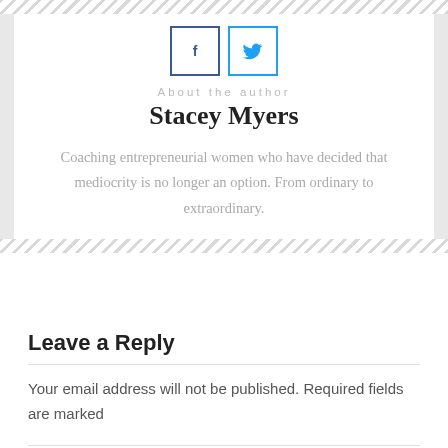[Figure (illustration): Two social media icon buttons: Facebook (f) with blue border and Twitter (bird) with light blue border]
About the author
Stacey Myers
Coaching entrepreneurial women who have decided that mediocrity is no longer an option. From ordinary to extraordinary.
Leave a Reply
Your email address will not be published. Required fields are marked